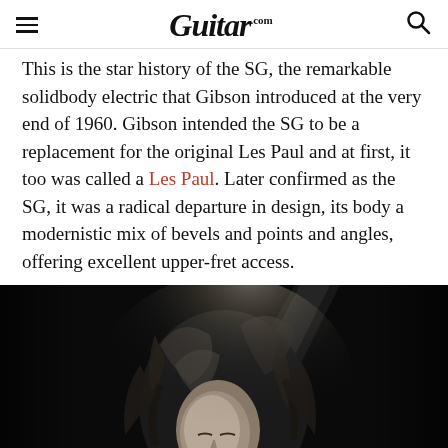Guitar.com
This is the star history of the SG, the remarkable solidbody electric that Gibson introduced at the very end of 1960. Gibson intended the SG to be a replacement for the original Les Paul and at first, it too was called a Les Paul. Later confirmed as the SG, it was a radical departure in design, its body a modernistic mix of bevels and points and angles, offering excellent upper-fret access.
[Figure (photo): Black and white concert photo of a long-haired guitarist performing under a spotlight, head down, eyes closed, mouth open]